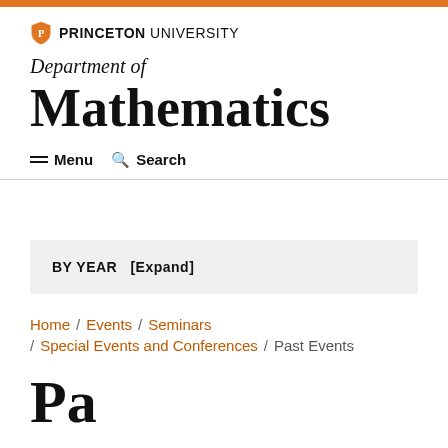Princeton University — Department of Mathematics
Department of Mathematics
≡ Menu   🔍 Search
BY YEAR   [Expand]
Home / Events / Seminars / Special Events and Conferences / Past Events
Past Events